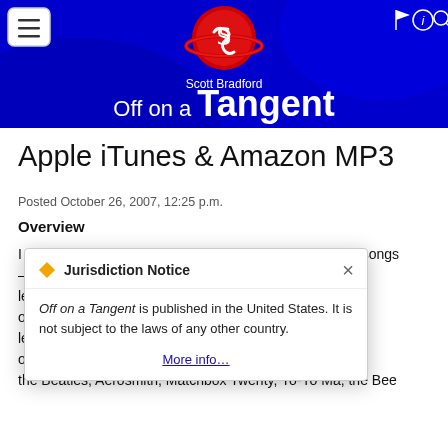[Figure (screenshot): Website header banner for 'Scott Bradford Off on a Tangent' blog with blue background, red planet logo, hamburger menu icon on left, navigation icons on right]
Apple iTunes & Amazon MP3
Posted October 26, 2007, 12:25 p.m.
Overview
I purchase my music legally. My collection—over 4,200 songs —has legitimate budget of about nes less d obliga d, the Beatles, Aerosmith, Matchbox Twenty, Yo-Yo Ma, the Bee
[Figure (screenshot): Jurisdiction Notice modal popup: 'Off on a Tangent is published in the United States. It is not subject to the laws of any other country.' with More info... link]